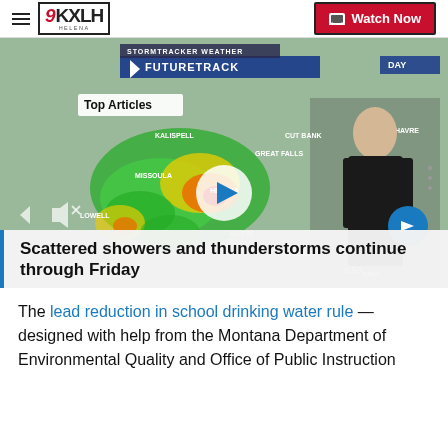9KXLH Helena | Watch Now
[Figure (screenshot): Weather forecast video still showing a meteorologist in front of a map of Montana with storm radar overlay, play button in center, Top Articles badge, next arrow button. Timestamp 6:50, KXLH bug.]
Scattered showers and thunderstorms continue through Friday
The lead reduction in school drinking water rule — designed with help from the Montana Department of Environmental Quality and Office of Public Instruction